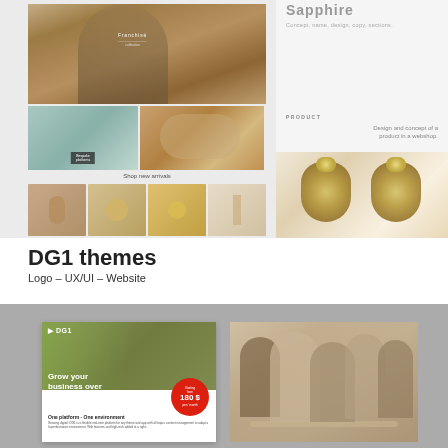[Figure (screenshot): Jewelry/fashion website mockup showing a model with floral headpiece, jewelry product images, and shop new arrivals section with earring thumbnails]
[Figure (screenshot): Right panel showing Sapphire product concept with text 'Concept, name, design, copy, sections.' and PRODUCT label 'Design and concept of a product in a webshop.' with gold earrings photo]
DG1 themes
Logo – UX/UI – Website
[Figure (screenshot): DG1 digital marketing advertisement with green background, 'Grow your business over digital assets' headline, Starting from 180$ badge, and team photo showing people working together]